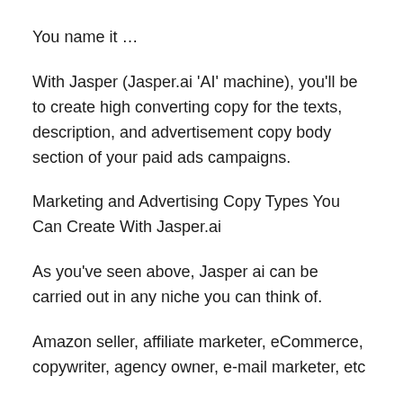You name it …
With Jasper (Jasper.ai 'AI' machine), you'll be to create high converting copy for the texts, description, and advertisement copy body section of your paid ads campaigns.
Marketing and Advertising Copy Types You Can Create With Jasper.ai
As you've seen above, Jasper ai can be carried out in any niche you can think of.
Amazon seller, affiliate marketer, eCommerce, copywriter, agency owner, e-mail marketer, etc